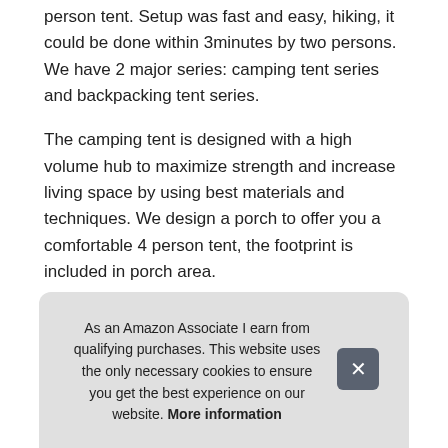person tent. Setup was fast and easy, hiking, it could be done within 3minutes by two persons. We have 2 major series: camping tent series and backpacking tent series.
The camping tent is designed with a high volume hub to maximize strength and increase living space by using best materials and techniques. We design a porch to offer you a comfortable 4 person tent, the footprint is included in porch area.
More information #ad
Kazoo outdoor camping tent offer 2 doors and 2 windows to prov... exp... bac... as li... proc...
As an Amazon Associate I earn from qualifying purchases. This website uses the only necessary cookies to ensure you get the best experience on our website. More information